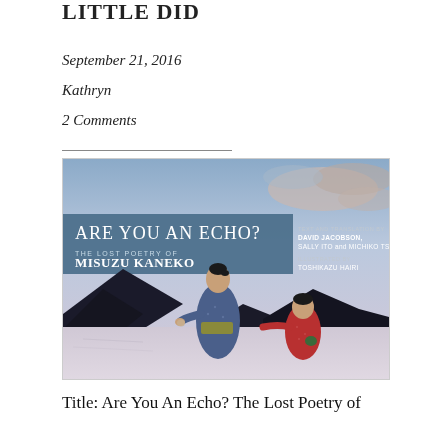LITTLE DID
September 21, 2016
Kathryn
2 Comments
[Figure (illustration): Book cover of 'Are You An Echo? The Lost Poetry of Misuzu Kaneko' featuring two figures in kimonos (an adult and a child) holding hands and walking toward a shoreline with mountains and a dramatic sky. Text credits: Text and translation by David Jacobson, Sally Ito and Michiko Tsuboi. Illustrated by Toshikazu Hairi.]
Title: Are You An Echo? The Lost Poetry of Misuzu Kaneko